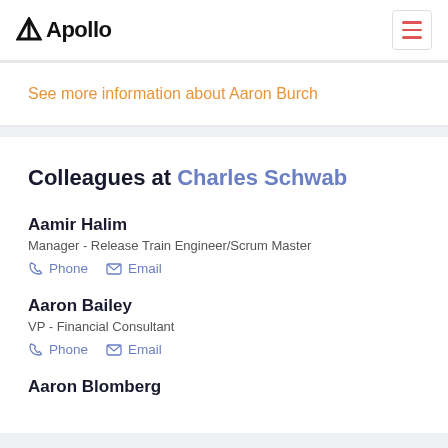Apollo
See more information about Aaron Burch
Colleagues at Charles Schwab
Aamir Halim
Manager - Release Train Engineer/Scrum Master
Aaron Bailey
VP - Financial Consultant
Aaron Blomberg